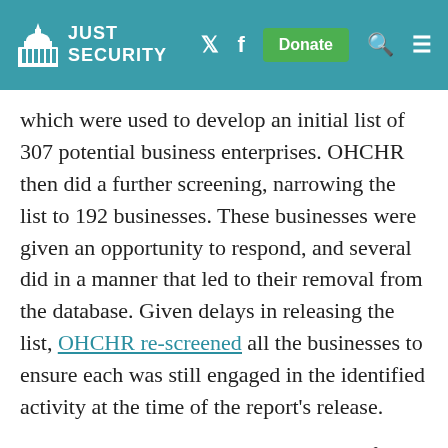JUST SECURITY
which were used to develop an initial list of 307 potential business enterprises. OHCHR then did a further screening, narrowing the list to 192 businesses. These businesses were given an opportunity to respond, and several did in a manner that led to their removal from the database. Given delays in releasing the list, OHCHR re-screened all the businesses to ensure each was still engaged in the identified activity at the time of the report's release.
It appears that OHCHR undertook significant efforts to ensure that all businesses were afforded due process and were included in the